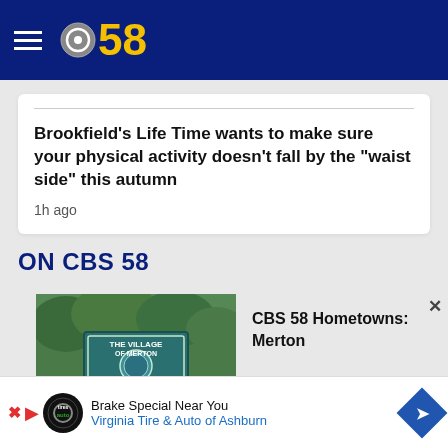[Figure (logo): CBS 58 logo with hamburger menu on dark blue header background]
Brookfield's Life Time wants to make sure your physical activity doesn't fall by the "waist side" this autumn
1h ago
ON CBS 58
[Figure (photo): The Village of Merton Welcomes You sign with green trees in background]
CBS 58 Hometowns: Merton
Brake Special Near You
Virginia Tire & Auto of Ashburn